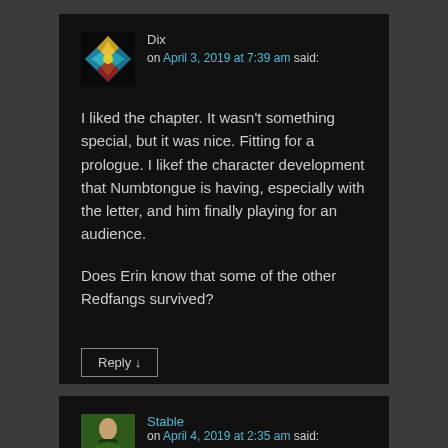[Figure (illustration): User avatar for Dix — kaleidoscopic geometric pattern with gold, teal, and dark red colors]
Dix
on April 3, 2019 at 7:39 am said:
I liked the chapter. It wasn't something special, but it was nice. Fitting for a prologue. I likef the character development that Numbtongue is having, especially with the letter, and him finally playing for an audience.

Does Erin know that some of the other Redfangs survived?
Reply ↓
[Figure (photo): User avatar for Stable — person standing outdoors on grass with green background]
Stable
on April 4, 2019 at 2:35 am said: